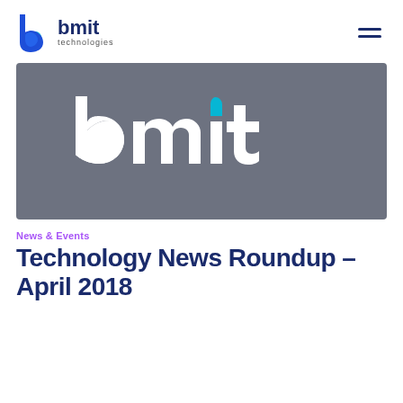bmit technologies
[Figure (logo): BMIT Technologies logo — large white 'bmit' wordmark on a dark grey/charcoal background]
News & Events
Technology News Roundup – April 2018